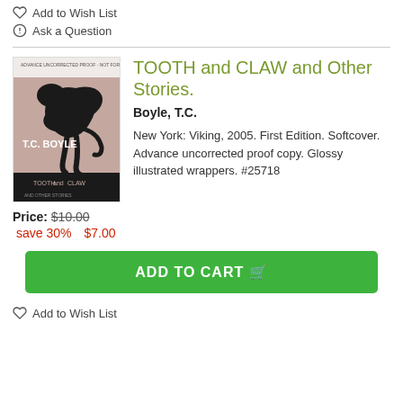Add to Wish List
Ask a Question
[Figure (photo): Book cover of T.C. Boyle's 'Tooth and Claw' — pink/mauve cover with black panther silhouette]
TOOTH and CLAW and Other Stories.
Boyle, T.C.
New York: Viking, 2005. First Edition. Softcover. Advance uncorrected proof copy. Glossy illustrated wrappers. #25718
Price: $10.00
save 30%   $7.00
ADD TO CART
Add to Wish List